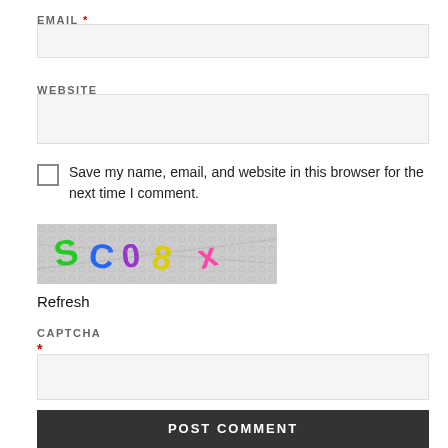EMAIL *
[Figure (screenshot): Empty email input field (light gray background, border)]
WEBSITE
[Figure (screenshot): Empty website input field (light gray background, border)]
Save my name, email, and website in this browser for the next time I comment.
[Figure (photo): CAPTCHA image with colorful distorted letters/numbers on a complex patterned background]
Refresh
CAPTCHA
*
[Figure (screenshot): Empty CAPTCHA input field]
POST COMMENT